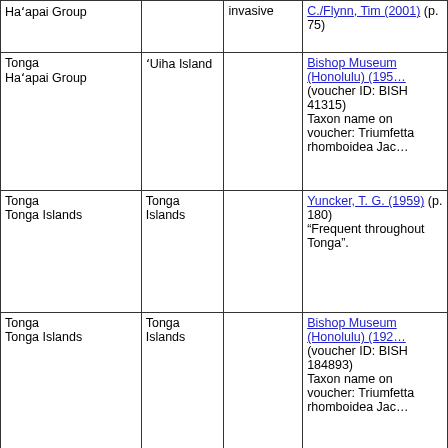| Location | Locality | Status | Reference |
| --- | --- | --- | --- |
| Haʻapai Group |  | invasive | C./Flynn, Tim (2001) (p. 75) |
| Tonga Haʻapai Group | ʻUiha Island |  | Bishop Museum (Honolulu) (195... (voucher ID: BISH 41315) Taxon name on voucher: Triumfetta rhomboidea Jac... |
| Tonga Tonga Islands | Tonga Islands |  | Yuncker, T. G. (1959) (p. 180) "Frequent throughout Tonga". |
| Tonga Tonga Islands | Tonga Islands |  | Bishop Museum (Honolulu) (192... (voucher ID: BISH 184893) Taxon name on voucher: Triumfetta rhomboidea Jac... |
| Tonga | ʻEua Island |  | Bishop Museum... |